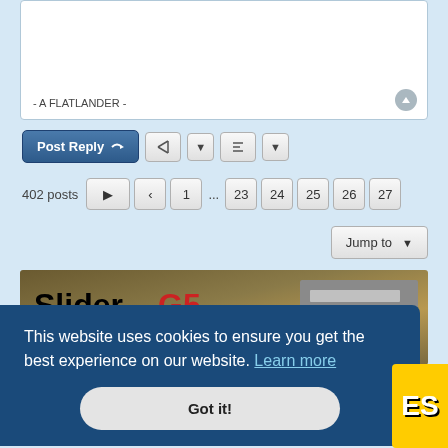- A FLATLANDER -
Post Reply | tool | sort
402 posts  1 ... 23 24 25 26 27
Jump to
[Figure (other): SliderG5 advertisement banner: 'SliderG5 — Bench Seat Boats Just Got More Comfortable! www.sliderg5.com']
Blog < Forum   All times are UTC-04:00
This website uses cookies to ensure you get the best experience on our website. Learn more
Got it!